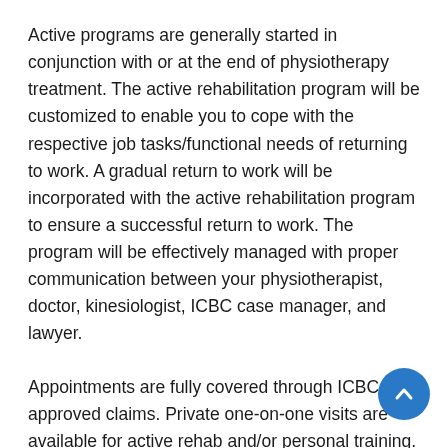Active programs are generally started in conjunction with or at the end of physiotherapy treatment. The active rehabilitation program will be customized to enable you to cope with the respective job tasks/functional needs of returning to work. A gradual return to work will be incorporated with the active rehabilitation program to ensure a successful return to work. The program will be effectively managed with proper communication between your physiotherapist, doctor, kinesiologist, ICBC case manager, and lawyer.
Appointments are fully covered through ICBC approved claims. Private one-on-one visits are available for active rehab and/or personal training.